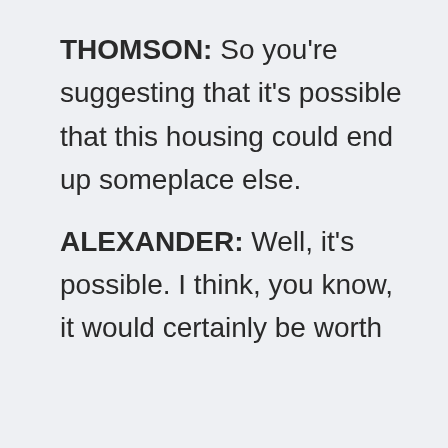THOMSON: So you're suggesting that it's possible that this housing could end up someplace else.
ALEXANDER: Well, it's possible. I think, you know, it would certainly be worth